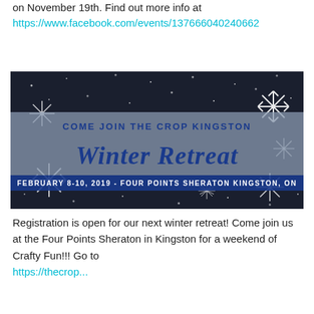on November 19th. Find out more info at https://www.facebook.com/events/137666040240662
[Figure (illustration): Winter Retreat event banner with dark background covered in snowflakes. Text reads: COME JOIN THE CROP KINGSTON Winter Retreat FEBRUARY 8-10, 2019 - FOUR POINTS SHERATON KINGSTON, ON]
Registration is open for our next winter retreat! Come join us at the Four Points Sheraton in Kingston for a weekend of Crafty Fun!!! Go to